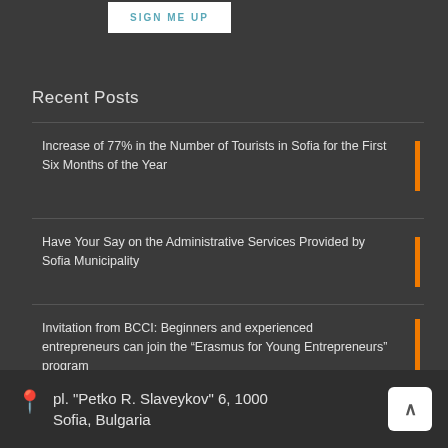SIGN ME UP
Recent Posts
Increase of 77% in the Number of Tourists in Sofia for the First Six Months of the Year
Have Your Say on the Administrative Services Provided by Sofia Municipality
Invitation from BCCI: Beginners and experienced entrepreneurs can join the “Erasmus for Young Entrepreneurs” program
Tweets by @InvestSofia
pl. "Petko R. Slaveykov" 6, 1000 Sofia, Bulgaria